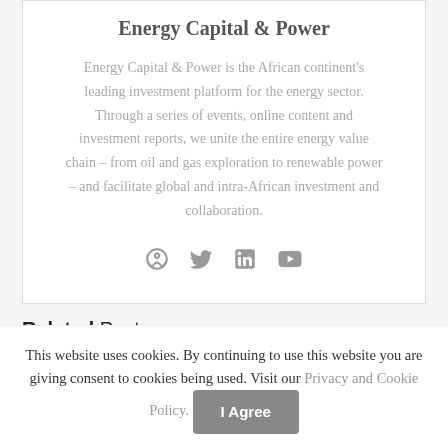Energy Capital & Power
Energy Capital & Power is the African continent's leading investment platform for the energy sector. Through a series of events, online content and investment reports, we unite the entire energy value chain – from oil and gas exploration to renewable power – and facilitate global and intra-African investment and collaboration.
[Figure (infographic): Social media icons: globe/website, Twitter, LinkedIn, YouTube]
Related Posts
This website uses cookies. By continuing to use this website you are giving consent to cookies being used. Visit our Privacy and Cookie Policy.